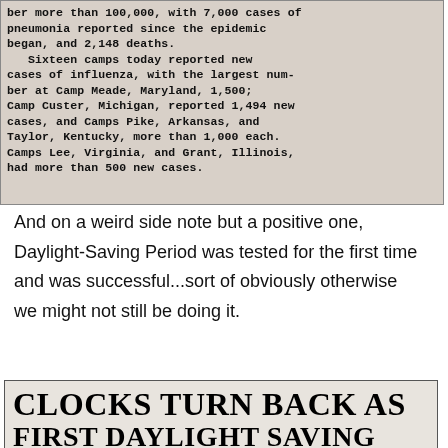[Figure (photo): Scanned newspaper clipping with blurry text about influenza cases at military camps, mentioning Camp Meade Maryland 1,500; Camp Custer Michigan 1,494 new cases; Camps Pike Arkansas and Taylor Kentucky more than 1,000 each; Camps Lee Virginia and Grant Illinois had more than 500 new cases.]
And on a weird side note but a positive one, Daylight-Saving Period was tested for the first time and was successful...sort of obviously otherwise we might not still be doing it.
[Figure (photo): Newspaper headline clipping reading: CLOCKS TURN BACK AS FIRST DAYLIGHT SAVING...]